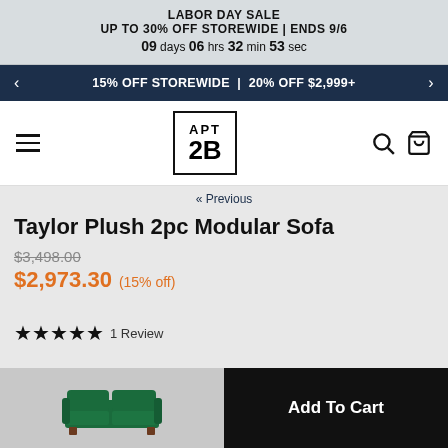LABOR DAY SALE
UP TO 30% OFF STOREWIDE | ENDS 9/6
09 days 06 hrs 32 min 53 sec
< 15% OFF STOREWIDE | 20% OFF $2,999+ >
APT 2B
« Previous
Taylor Plush 2pc Modular Sofa
$3,498.00
$2,973.30 (15% off)
★★★★★ 1 Review
[Figure (photo): Green modular sofa thumbnail]
Add To Cart